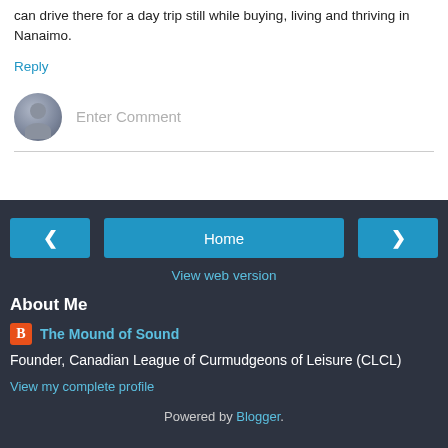can drive there for a day trip still while buying, living and thriving in Nanaimo.
Reply
[Figure (other): Comment input field with avatar placeholder and 'Enter Comment' placeholder text]
[Figure (other): Navigation buttons: left arrow, Home (center), right arrow]
View web version
About Me
The Mound of Sound
Founder, Canadian League of Curmudgeons of Leisure (CLCL)
View my complete profile
Powered by Blogger.